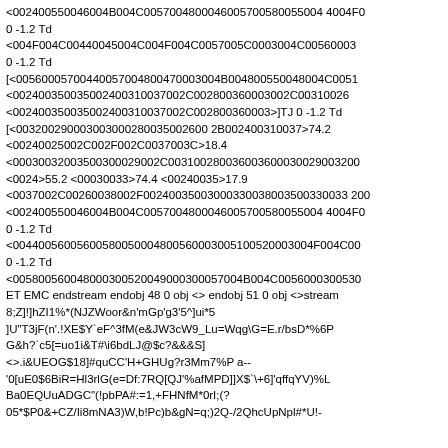<00240055004600 4B004C005700480004600570058005500 44004F0 0 -1.2 Td <004F004C00440045004C004F004C0057005C0003004C00560003 0 -1.2 Td [<00560005700440057004800470003004B00480055004 8004C0051 <002400350035002400310037002C002800360003002C00310026 <002400350035002400310037002C002800360003>]TJ 0 -1.2 Td [<0032002900030030002800350026002B00240031003 7>74.2 <00240025002C002F002C0037003C>18.4 <00030032003500300029002C003100280036003600030029003 20 <0024>55.2 <00030033>74.4 <00240035>17.9 <0037002C00260038002F002400350030003300380035003300 320 <00240055004600 4B004C005700480004600570058005500 44004F0 0 -1.2 Td <00440056005600580050004800560003005100520003004F004C0 0 -1.2 Td <0058005600480003005200490003000057004B004C005600030053 ET EMC endstream endobj 48 0 obj <> endobj 51 0 obj <>stream 8;Z]!]hZI1%*(NJZWoor&n'mGp'g3'5^]ui*5 ]U"T3jF(n'.!XE$Y`eF^3fM(e&JW3cW9_Lu=Wqg\G=E.r/bsD*%6P G&h?`c5[=uo1i&T#\i6bdLJ@$c?&&&S] <>.i&UEOG$18]#quCC'H+GHUg?r3Mm7%P a-- '0[uE0$6BiR=Hl3rlG(e=Df:7RQ[QJ'%afMPD]]X$`\+6]'qffqYV)%L Ba0EQUuADGC"(!pbPA#:=1,+FHNfM*0rI;(? 05*$P0&+CZ/Ii8mNA3)W,b!Pc)b&gN=q;)2Q-/2QhcUpNpl#*U!-